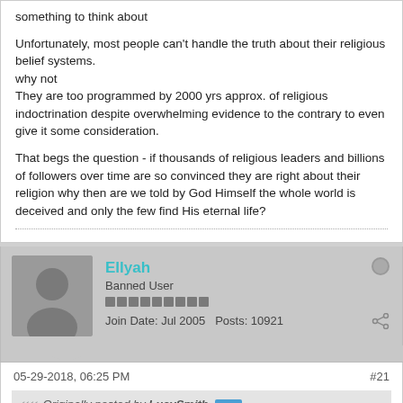something to think about

Unfortunately, most people can't handle the truth about their religious belief systems.
why not
They are too programmed by 2000 yrs approx. of religious indoctrination despite overwhelming evidence to the contrary to even give it some consideration.

That begs the question - if thousands of religious leaders and billions of followers over time are so convinced they are right about their religion why then are we told by God Himself the whole world is deceived and only the few find His eternal life?
Ellyah
Banned User
Join Date: Jul 2005    Posts: 10921
05-29-2018, 06:25 PM
#21
Originally posted by LucySmith
Unfortunately, most people can't handle the truth about their religious belief systems.
why not